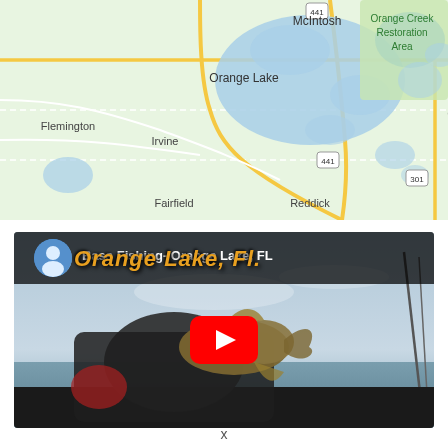[Figure (map): Google Maps view showing Orange Lake area in Florida, including locations: McIntosh, Orange Lake, Flemington, Irvine, Citra, Fairfield, Reddick, Orange Creek Restoration Area. Roads include US-441 and US-301.]
[Figure (screenshot): YouTube video thumbnail for 'Bass Fishing- Orange Lake, FL' showing a person holding a bass fish on a boat with a lake in the background. Has a YouTube play button overlay and orange italic overlay text 'Orange Lake, Fl.']
x